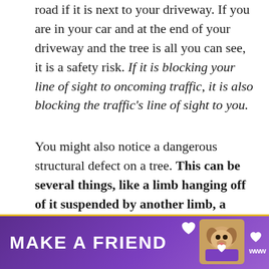road if it is next to your driveway. If you are in your car and at the end of your driveway and the tree is all you can see, it is a safety risk. If it is blocking your line of sight to oncoming traffic, it is also blocking the traffic's line of sight to you.
You might also notice a dangerous structural defect on a tree. This can be several things, like a limb hanging off of it suspended by another limb, a large crack in the tree's foundation, or even an unstable base.
If you notice anything that looks like it might be a problem with the integrity of your tree, you m...
[Figure (other): Advertisement banner with purple background reading 'MAKE A FRIEND' with a dog image and heart icons]